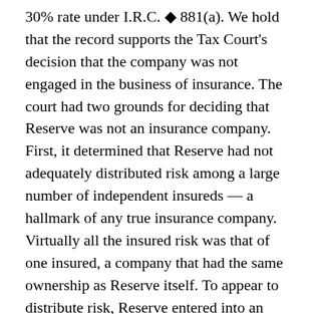30% rate under I.R.C. § 881(a). We hold that the record supports the Tax Court's decision that the company was not engaged in the business of insurance. The court had two grounds for deciding that Reserve was not an insurance company. First, it determined that Reserve had not adequately distributed risk among a large number of independent insureds — a hallmark of any true insurance company. Virtually all the insured risk was that of one insured, a company that had the same ownership as Reserve itself. To appear to distribute risk, Reserve entered into an insurance pool with other purported insurance companies, each owned by an affiliate of its insured, but the arrangement lacked substance and the pool itself did not distribute risk. Second, the Tax Court determined that the policies issued by Reserve were not insurance in the commonly accepted sense. For example, the